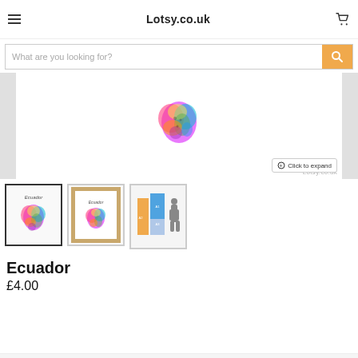Lotsy.co.uk
What are you looking for?
[Figure (photo): Colorful watercolor-style map of Ecuador shown in product listing, with 'Click to expand' button overlay and Lotsy.co.uk watermark]
[Figure (photo): Thumbnail 1: Ecuador watercolor map print, plain white background, selected/active state]
[Figure (photo): Thumbnail 2: Ecuador watercolor map print in wooden frame]
[Figure (infographic): Thumbnail 3: Size comparison chart showing A1/A2/A3 print sizes next to silhouette of a person]
Ecuador
£4.00